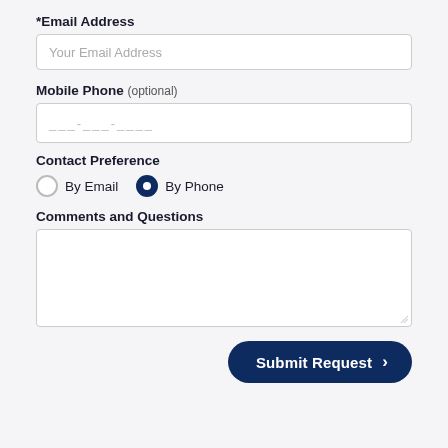*Email Address
[Figure (other): Text input field with placeholder 'Your Email Address']
Mobile Phone (optional)
[Figure (other): Text input field with phone number placeholder format ___-___-____]
Contact Preference
[Figure (other): Radio buttons: 'By Email' (unselected) and 'By Phone' (selected, filled dark navy)]
Comments and Questions
[Figure (other): Large textarea input box, empty, with resize handle in bottom-right corner]
[Figure (other): Submit Request button with right arrow, dark navy background, rounded pill shape]